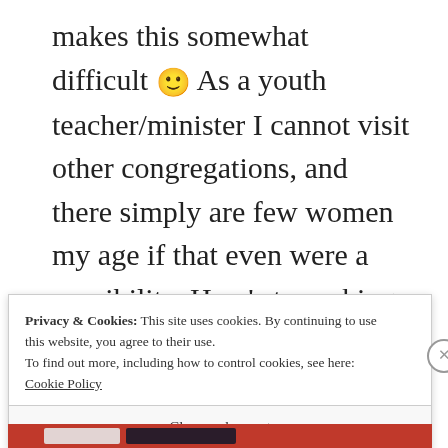makes this somewhat difficult 🙂 As a youth teacher/minister I cannot visit other congregations, and there simply are few women my age if that even were a possibility. Here's to seeking our the right path of pursuit.
★ Like
REPLY
Privacy & Cookies: This site uses cookies. By continuing to use this website, you agree to their use.
To find out more, including how to control cookies, see here:
Cookie Policy
Close and accept